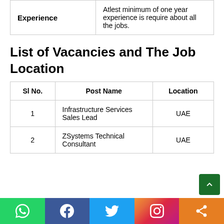|  |  |
| --- | --- |
| Experience | Atlest minimum of one year experience is require about all the jobs. |
List of Vacancies and The Job Location
| Sl No. | Post Name | Location |
| --- | --- | --- |
| 1 | Infrastructure Services Sales Lead | UAE |
| 2 | ZSystems Technical Consultant | UAE |